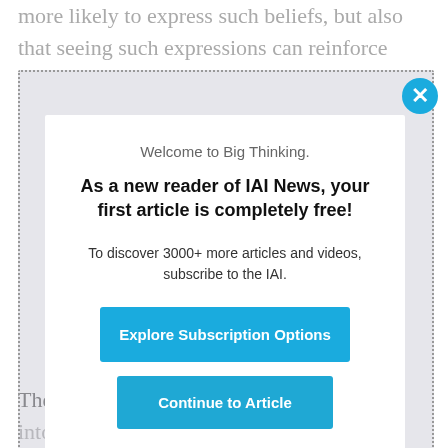more likely to express such beliefs, but also that seeing such expressions can reinforce
Welcome to Big Thinking.
As a new reader of IAI News, your first article is completely free!
To discover 3000+ more articles and videos, subscribe to the IAI.
Explore Subscription Options
Continue to Article
The thought that beliefs can be categorized into those that are purely theoretical and